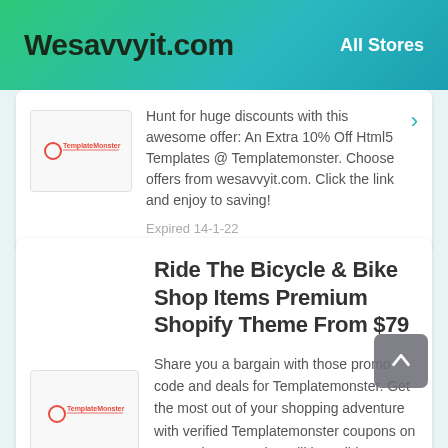Wesavvyit.com   All Stores
Hunt for huge discounts with this awesome offer: An Extra 10% Off Html5 Templates @ Templatemonster. Choose offers from wesavvyit.com. Click the link and enjoy to saving!
Expired 14-1-22
Ride The Bicycle & Bike Shop Items Premium Shopify Theme From $79
Share you a bargain with those promo code and deals for Templatemonster. Get the most out of your shopping adventure with verified Templatemonster coupons on HotDeals. Promotion will be valid at